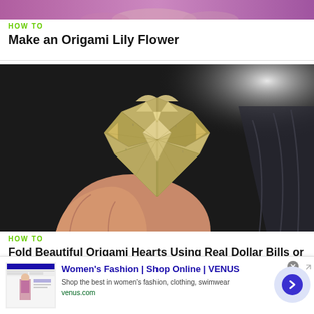[Figure (photo): Cropped top portion of a photo showing fingers holding something, pink/purple tones, partially visible at top of page]
HOW TO
Make an Origami Lily Flower
[Figure (photo): A hand holding an origami heart made from a dollar bill, photographed against a dark background with white light in the upper right corner]
HOW TO
Fold Beautiful Origami Hearts Using Real Dollar Bills or Any Other Paper Money
Women's Fashion | Shop Online | VENUS
Shop the best in women's fashion, clothing, swimwear
venus.com